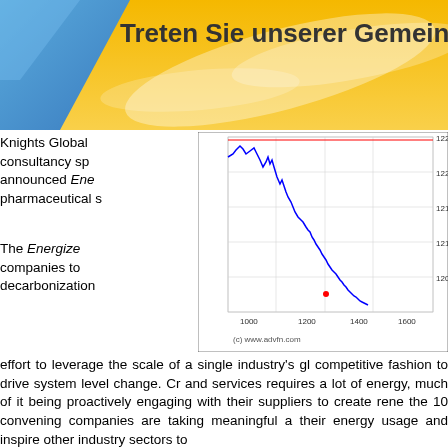Treten Sie unserer Gemeinschaft bei
Knights Global consultancy sp announced Ene pharmaceutical s
[Figure (continuous-plot): Stock price line chart showing a declining trend from approximately 122.5 down to 120.5. The y-axis ranges from 120.5 to 122.5. The x-axis shows values from approximately 800 to 1600. A horizontal red line near 122.5 marks a reference level. The line is blue with a small red dot near x=1200. Copyright (c) www.advfn.com]
The Energize companies to decarbonization effort to leverage the scale of a single industry's global competitive fashion to drive system level change. Creating and services requires a lot of energy, much of it being proactively engaging with their suppliers to create renewable the 10 convening companies are taking meaningful action their energy usage and inspire other industry sectors to
The program will help pharmaceutical and healthcare own operational Scope 2 greenhouse gas emissions procurement, which in turn will reduce the participating